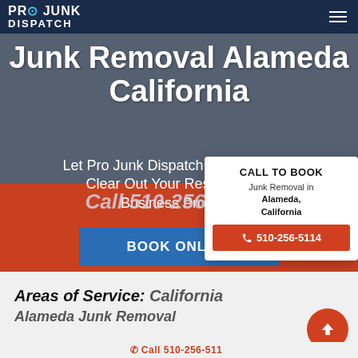Pro Junk Dispatch
Junk Removal Alameda California
Let Pro Junk Dispatch Clean Up and Clear Out Your Residential or Business Property
Call 510-256-5114
CALL TO BOOK
Junk Removal in Alameda, California
510-256-5114
BOOK ONLINE
Areas of Service: California
Alameda Junk Removal